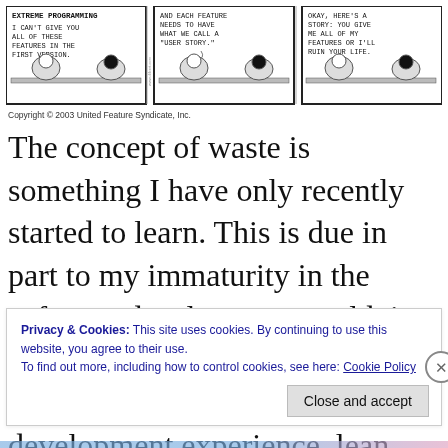[Figure (illustration): Three-panel Dilbert comic strip about Extreme Programming. Panel 1: Character says 'EXTREME PROGRAMMING I CAN'T GIVE YOU ALL OF THESE FEATURES IN THE FIRST VERSION.' Panel 2: Character says 'AND EACH FEATURE NEEDS TO HAVE WHAT WE CALL A USER STORY.' Panel 3: Character says 'OKAY, HERE'S A STORY: YOU GIVE ME ALL OF MY FEATURES OR I'LL RUIN YOUR LIFE.']
Copyright © 2003 United Feature Syndicate, Inc.
The concept of waste is something I have only recently started to learn. This is due in part to my immaturity in the software development world, in particular, my lack of on the ground agile software development experience, lean,
Privacy & Cookies: This site uses cookies. By continuing to use this website, you agree to their use.
To find out more, including how to control cookies, see here: Cookie Policy
Close and accept